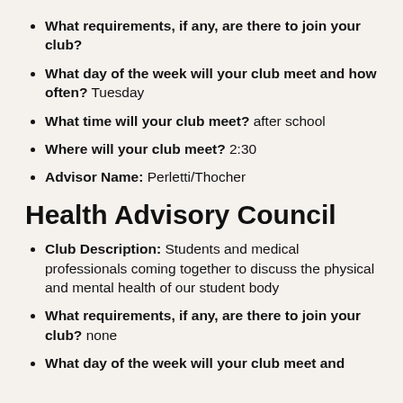What requirements, if any, are there to join your club?
What day of the week will your club meet and how often? Tuesday
What time will your club meet? after school
Where will your club meet? 2:30
Advisor Name: Perletti/Thocher
Health Advisory Council
Club Description: Students and medical professionals coming together to discuss the physical and mental health of our student body
What requirements, if any, are there to join your club? none
What day of the week will your club meet and